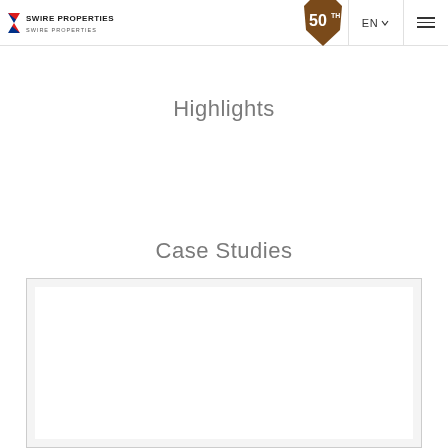Swire Properties 50th EN
Highlights
Case Studies
[Figure (other): White card/image placeholder area below Case Studies section]